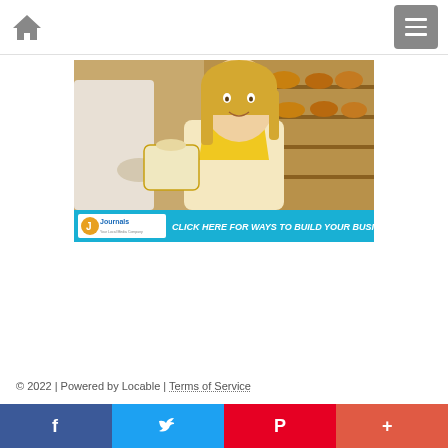Home | Menu
[Figure (photo): Photo of a smiling blonde woman in a yellow scarf working at a bakery counter, handing a bag to a customer. Below the photo is a cyan banner with 'Journals CLICK HERE FOR WAYS TO BUILD YOUR BUSINESS.']
© 2022 | Powered by Locable | Terms of Service
Facebook | Twitter | Pinterest | More